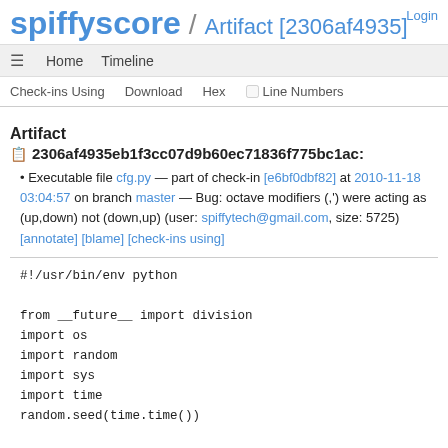spiffyscore / Artifact [2306af4935]  Login
≡  Home  Timeline
Check-ins Using  Download  Hex  □ Line Numbers
Artifact
📋 2306af4935eb1f3cc07d9b60ec71836f775bc1ac:
Executable file cfg.py — part of check-in [e6bf0dbf82] at 2010-11-18 03:04:57 on branch master — Bug: octave modifiers (,') were acting as (up,down) not (down,up) (user: spiffytech@gmail.com, size: 5725) [annotate] [blame] [check-ins using]
#!/usr/bin/env python

from __future__ import division
import os
import random
import sys
import time
random.seed(time.time())